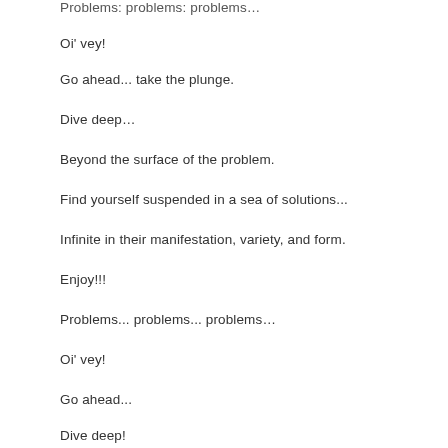Problems: problems: problems…
Oi' vey!
Go ahead... take the plunge.
Dive deep…
Beyond the surface of the problem.
Find yourself suspended in a sea of solutions...
Infinite in their manifestation, variety, and form.
Enjoy!!!
Problems... problems... problems…
Oi' vey!
Go ahead...
Dive deep!